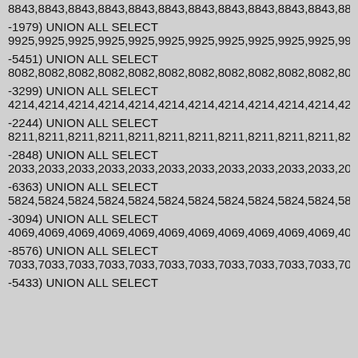8843,8843,8843,8843,8843,8843,8843,8843,8843,8843,8843,8843,8843,
-1979) UNION ALL SELECT
9925,9925,9925,9925,9925,9925,9925,9925,9925,9925,9925,9925,
-5451) UNION ALL SELECT
8082,8082,8082,8082,8082,8082,8082,8082,8082,8082,8082,8082,
-3299) UNION ALL SELECT
4214,4214,4214,4214,4214,4214,4214,4214,4214,4214,4214,4214,
-2244) UNION ALL SELECT
8211,8211,8211,8211,8211,8211,8211,8211,8211,8211,8211,8211,
-2848) UNION ALL SELECT
2033,2033,2033,2033,2033,2033,2033,2033,2033,2033,2033,2033,
-6363) UNION ALL SELECT
5824,5824,5824,5824,5824,5824,5824,5824,5824,5824,5824,5824,
-3094) UNION ALL SELECT
4069,4069,4069,4069,4069,4069,4069,4069,4069,4069,4069,4069,
-8576) UNION ALL SELECT
7033,7033,7033,7033,7033,7033,7033,7033,7033,7033,7033,7033,
-5433) UNION ALL SELECT